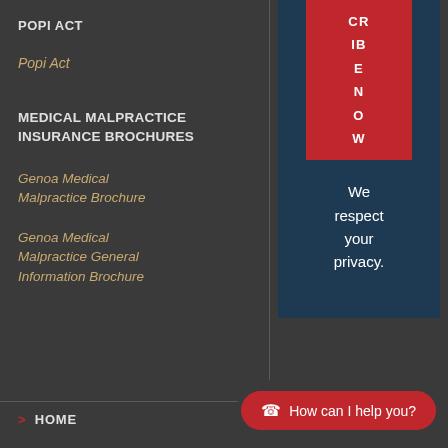POPI ACT
Popi Act
MEDICAL MALPRACTICE INSURANCE BROCHURES
Genoa Medical Malpractice Brochure
Genoa Medical Malpractice General Information Brochure
[Figure (infographic): Dark blue box with a red pill-shaped subscribe button showing text 'CR IB E N O W' vertically, and text below reading 'We respect your privacy.']
> HOME
How can I help you?